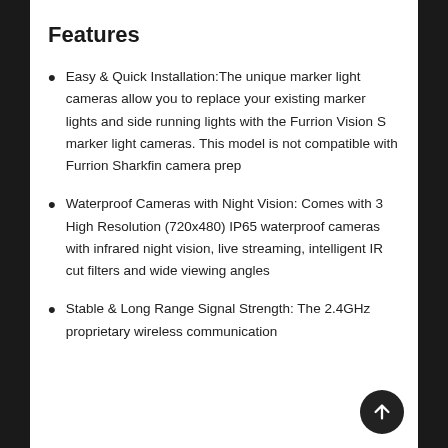Features
Easy & Quick Installation:The unique marker light cameras allow you to replace your existing marker lights and side running lights with the Furrion Vision S marker light cameras. This model is not compatible with Furrion Sharkfin camera prep
Waterproof Cameras with Night Vision: Comes with 3 High Resolution (720x480) IP65 waterproof cameras with infrared night vision, live streaming, intelligent IR cut filters and wide viewing angles
Stable & Long Range Signal Strength: The 2.4GHz proprietary wireless communication